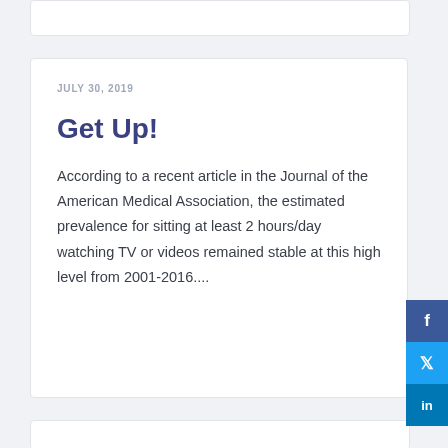JULY 30, 2019
Get Up!
According to a recent article in the Journal of the American Medical Association, the estimated prevalence for sitting at least 2 hours/day watching TV or videos remained stable at this high level from 2001-2016....